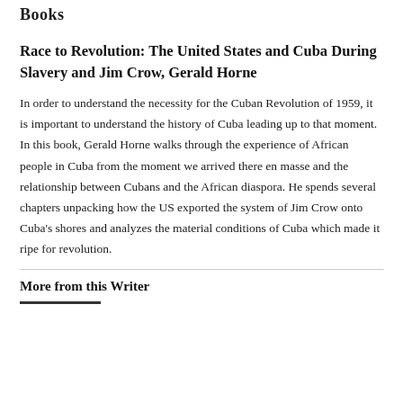Books
Race to Revolution: The United States and Cuba During Slavery and Jim Crow, Gerald Horne
In order to understand the necessity for the Cuban Revolution of 1959, it is important to understand the history of Cuba leading up to that moment. In this book, Gerald Horne walks through the experience of African people in Cuba from the moment we arrived there en masse and the relationship between Cubans and the African diaspora. He spends several chapters unpacking how the US exported the system of Jim Crow onto Cuba's shores and analyzes the material conditions of Cuba which made it ripe for revolution.
More from this Writer